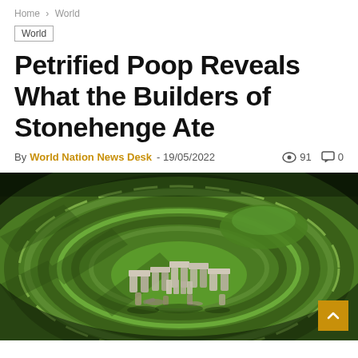Home > World
World
Petrified Poop Reveals What the Builders of Stonehenge Ate
By World Nation News Desk - 19/05/2022  91  0
[Figure (photo): Aerial photograph of Stonehenge showing the ancient stone circle monument surrounded by circular earthworks and green grass, viewed from above at an angle.]